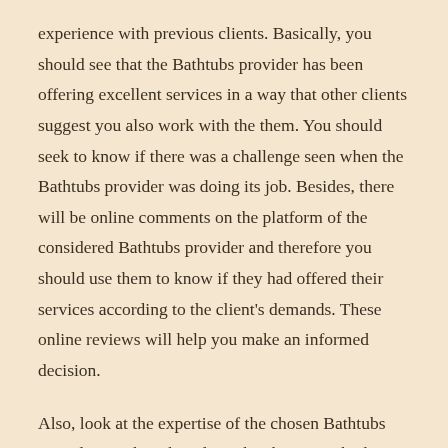experience with previous clients. Basically, you should see that the Bathtubs provider has been offering excellent services in a way that other clients suggest you also work with the them. You should seek to know if there was a challenge seen when the Bathtubs provider was doing its job. Besides, there will be online comments on the platform of the considered Bathtubs provider and therefore you should use them to know if they had offered their services according to the client's demands. These online reviews will help you make an informed decision.
Also, look at the expertise of the chosen Bathtubs provider. Find out how long the chosen Bathtubs provider will have been working. If the Bathtubs provider has been running their business for the longest period, it implies they have been working with many similar clients and as a